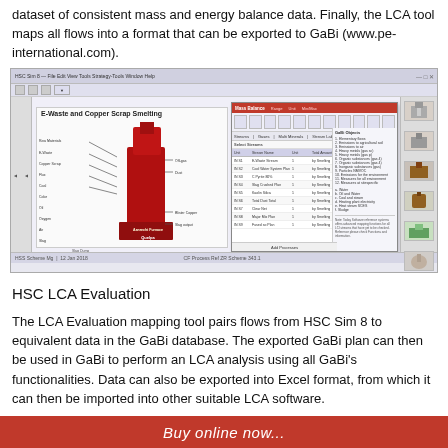dataset of consistent mass and energy balance data. Finally, the LCA tool maps all flows into a format that can be exported to GaBi (www.pe-international.com).
[Figure (screenshot): Screenshot of HSC Sim 8 software showing E-Waste and Copper Scrap Smelting simulation with a diagram of a smelting furnace on the left and a data mapping panel overlay on the right, with thumbnail icons in the far right sidebar.]
HSC LCA Evaluation
The LCA Evaluation mapping tool pairs flows from HSC Sim 8 to equivalent data in the GaBi database. The exported GaBi plan can then be used in GaBi to perform an LCA analysis using all GaBi's functionalities. Data can also be exported into Excel format, from which it can then be imported into other suitable LCA software.
Buy online now...